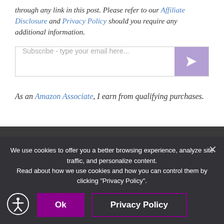through any link in this post. Please refer to our Affiliate Disclosure and Privacy Policy should you require any additional information.
[Figure (other): Email subscription input box with purple send button]
As an Amazon Associate, I earn from qualifying purchases.
We use cookies to offer you a better browsing experience, analyze site traffic, and personalize content. Read about how we use cookies and how you can control them by clicking "Privacy Policy".